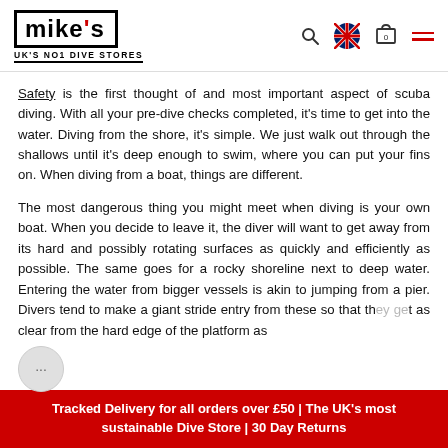mike's UK'S NO1 DIVE STORES
Safety is the first thought of and most important aspect of scuba diving. With all your pre-dive checks completed, it's time to get into the water. Diving from the shore, it's simple. We just walk out through the shallows until it's deep enough to swim, where you can put your fins on. When diving from a boat, things are different.
The most dangerous thing you might meet when diving is your own boat. When you decide to leave it, the diver will want to get away from its hard and possibly rotating surfaces as quickly and efficiently as possible. The same goes for a rocky shoreline next to deep water. Entering the water from bigger vessels is akin to jumping from a pier. Divers tend to make a giant stride entry from these so that they get as clear from the hard edge of the platform as
Tracked Delivery for all orders over £50 | The UK's most sustainable Dive Store | 30 Day Returns